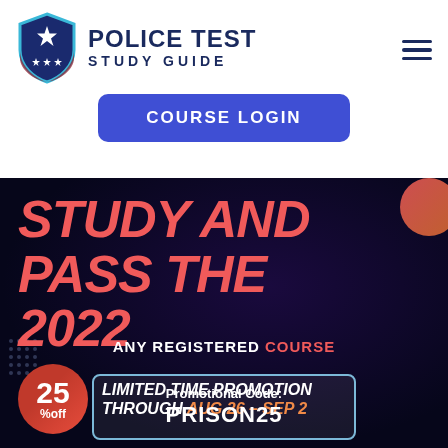[Figure (logo): Police Test Study Guide shield logo with star and three smaller stars, blue and red shield with cyan outline]
POLICE TEST STUDY GUIDE
[Figure (other): Hamburger menu icon (three horizontal lines)]
COURSE LOGIN
STUDY AND PASS THE 2022
ANY REGISTERED COURSE
25% off LIMITED TIME PROMOTION THROUGH AUG 26 – SEP 2
Promotional Code: PRISON25